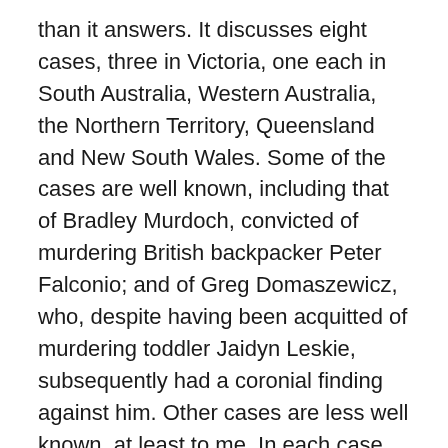than it answers. It discusses eight cases, three in Victoria, one each in South Australia, Western Australia, the Northern Territory, Queensland and New South Wales. Some of the cases are well known, including that of Bradley Murdoch, convicted of murdering British backpacker Peter Falconio; and of Greg Domaszewicz, who, despite having been acquitted of murdering toddler Jaidyn Leskie, subsequently had a coronial finding against him. Other cases are less well known, at least to me. In each case, the defendants have protested their innocence. Several have been exonerated; others are still fighting for “justice” – or, at least, to clear their names.
But what is “justice”? That’s the real unanswered question this book poses.
Bowles looks at the processes behind these cases and